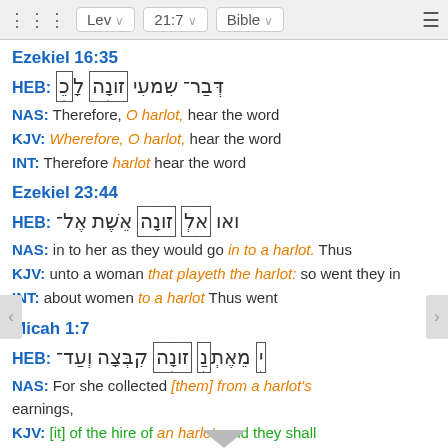Lev  21:7  Bible
Ezekiel 16:35
HEB: [Hebrew text]
NAS: Therefore, O harlot, hear the word
KJV: Wherefore, O harlot, hear the word
INT: Therefore harlot hear the word
Ezekiel 23:44
HEB: [Hebrew text]
NAS: in to her as they would go in to a harlot. Thus
KJV: unto a woman that playeth the harlot: so went they in
INT: about women to a harlot Thus went
Micah 1:7
HEB: [Hebrew text]
NAS: For she collected [them] from a harlot's earnings,
KJV: [it] of the hire of an harlot, and they shall